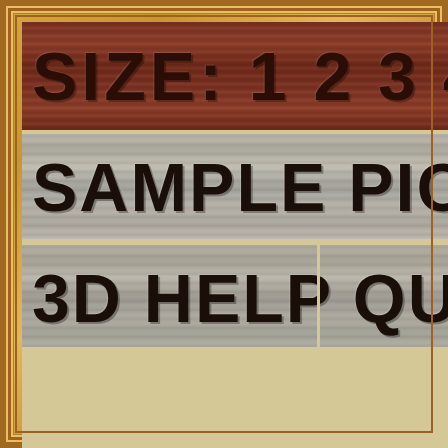[Figure (photo): Close-up photograph of wooden sign or display board showing upper-left corner with oak frame and three horizontal carved wooden strips. Top strip is dark reddish-brown wood with carved text 'SIZE: 1 2 3 4' (partially visible). Middle strip is gray/silver weathered wood with carved text 'SAMPLE PIC' (partially visible). Bottom strip is similar gray wood with carved text '3D HELP' and 'QU' (partially visible), with a vertical divider between the two sections. Below the strips is a cream/tan smooth wood area. The entire piece is framed by a layered golden-tan oak border.]